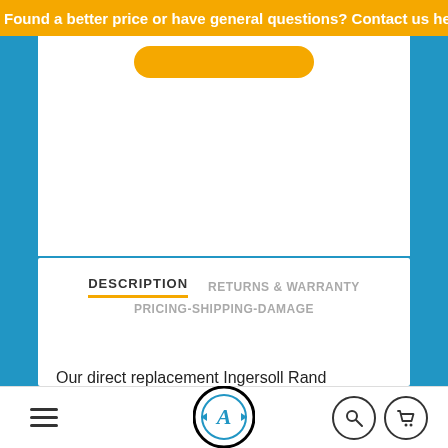Found a better price or have general questions? Contact us here
DESCRIPTION   RETURNS & WARRANTY   PRICING-SHIPPING-DAMAGE
Our direct replacement Ingersoll Rand 24241952 meets or exceeds OEM specifications. This product is aftermarket only and we are not affiliated with Ingersoll Rand. Photos are for illustrative purposes only and depict the broad types of products offered.